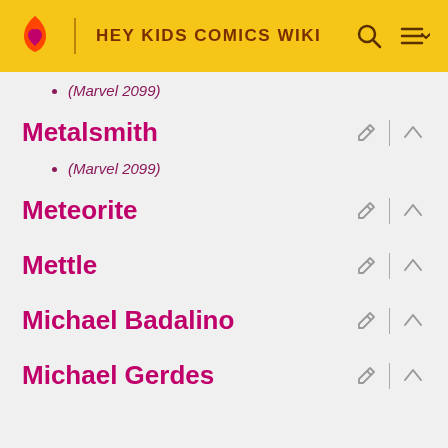HEY KIDS COMICS WIKI
(Marvel 2099)
Metalsmith
(Marvel 2099)
Meteorite
Mettle
Michael Badalino
Michael Gerdes